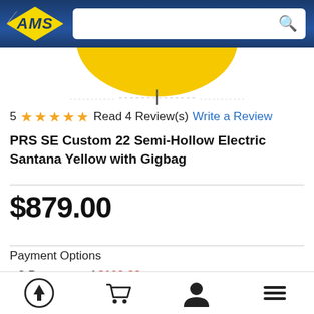AMS logo and search bar
[Figure (photo): Partial view of a yellow guitar body (PRS SE Custom 22 Semi-Hollow Electric Santana Yellow), cropped at top showing just the lower portion of the instrument.]
5 ★★★★★ Read 4 Review(s) Write a Review
PRS SE Custom 22 Semi-Hollow Electric Santana Yellow with Gigbag
$879.00
Payment Options
8 Payments of $109.88
0% Interest with AMS EZ-Pay
Bottom navigation bar with up arrow, cart, user, and menu icons